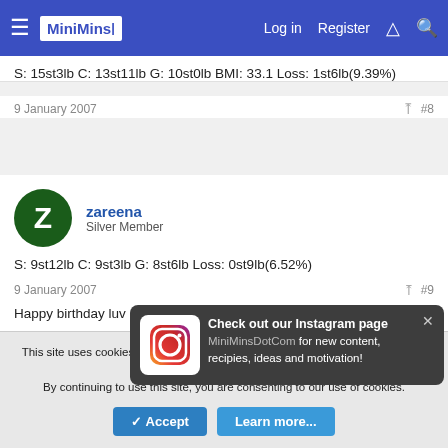MiniMins — Log in  Register
S: 15st3lb C: 13st11lb G: 10st0lb BMI: 33.1 Loss: 1st6lb(9.39%)
9 January 2007  #8
zareena
Silver Member
S: 9st12lb C: 9st3lb G: 8st6lb Loss: 0st9lb(6.52%)
9 January 2007  #9
Happy birthday luv
[Figure (other): Instagram popup notification with Instagram logo icon and text: Check out our Instagram page MiniMinsDotCom for new content, recipies, ideas and motivation!]
This site uses cookies to help personalise content, tailor your experience and to keep you logged in if you register.
By continuing to use this site, you are consenting to our use of cookies.